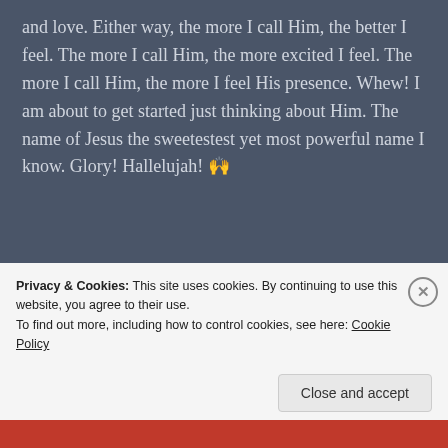and love. Either way, the more I call Him, the better I feel. The more I call Him, the more excited I feel. The more I call Him, the more I feel His presence. Whew! I am about to get started just thinking about Him. The name of Jesus the sweetestest yet most powerful name I know. Glory! Hallelujah! 🙌
[Figure (other): WordPress VIP advertisement banner with gradient orange/pink background, WordPress logo, and 'Learn more' button]
Unrelated but related story (I'll bring it together for
Privacy & Cookies: This site uses cookies. By continuing to use this website, you agree to their use. To find out more, including how to control cookies, see here: Cookie Policy
Close and accept